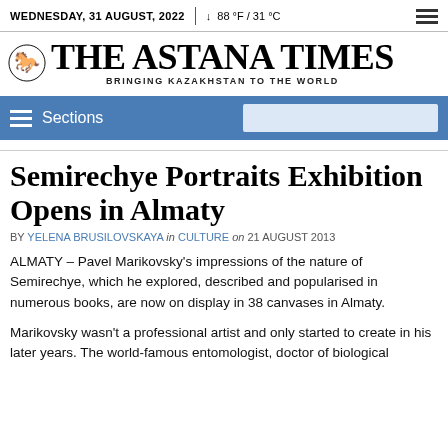WEDNESDAY, 31 AUGUST, 2022 | 88 °F / 31 °C
THE ASTANA TIMES — BRINGING KAZAKHSTAN TO THE WORLD
Sections
Semirechye Portraits Exhibition Opens in Almaty
BY YELENA BRUSILOVSKAYA in CULTURE on 21 AUGUST 2013
ALMATY – Pavel Marikovsky's impressions of the nature of Semirechye, which he explored, described and popularised in numerous books, are now on display in 38 canvases in Almaty.
Marikovsky wasn't a professional artist and only started to create in his later years. The world-famous entomologist, doctor of biological